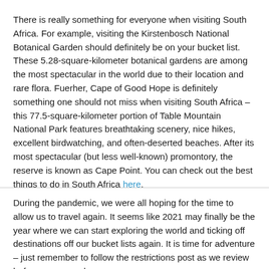There is really something for everyone when visiting South Africa. For example, visiting the Kirstenbosch National Botanical Garden should definitely be on your bucket list. These 5.28-square-kilometer botanical gardens are among the most spectacular in the world due to their location and rare flora. Fuerher, Cape of Good Hope is definitely something one should not miss when visiting South Africa – this 77.5-square-kilometer portion of Table Mountain National Park features breathtaking scenery, nice hikes, excellent birdwatching, and often-deserted beaches. After its most spectacular (but less well-known) promontory, the reserve is known as Cape Point. You can check out the best things to do in South Africa here.
[Figure (other): Orange circular chat bubble icon with white speech bubble symbol]
During the pandemic, we were all hoping for the time to allow us to travel again. It seems like 2021 may finally be the year where we can start exploring the world and ticking off destinations off our bucket lists again. It is time for adventure – just remember to follow the restrictions post as we review before you go and...